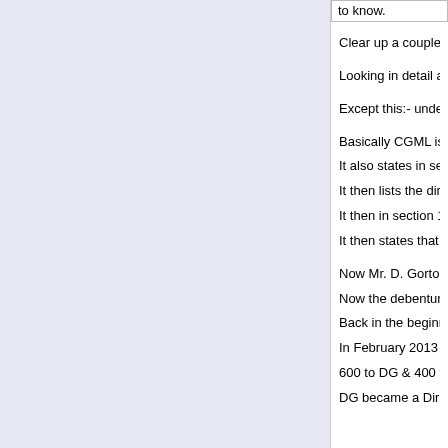to know.
Clear up a couple of points thenn…
Looking in detail at the last lodges accounts..most the in &
Except this:- under 7.Creditors "Amounts due within one y
Basically CGML is being used to borrow against...by NAI
It also states in section 14 that under section33 FRS102 t
It then lists the directors of NAIL & their other involvement
It then in section 15 clearly states that CGML is wholly ow
It then states that the ultimate controlling party is Mr.D. Go
Now Mr. D. Gorton is only mentioned as he has a controll
Now the debenture with HSBC taken out by NAIL was sig
Back in the beginning (2011-2013)of NAIL David Gorton is
In February 2013 a notice to strike off the company NAIL
600 to DG & 400 to K2 Equity Partners LLP in shares
DG became a Director of NAIL in Jan 2016 , occupation